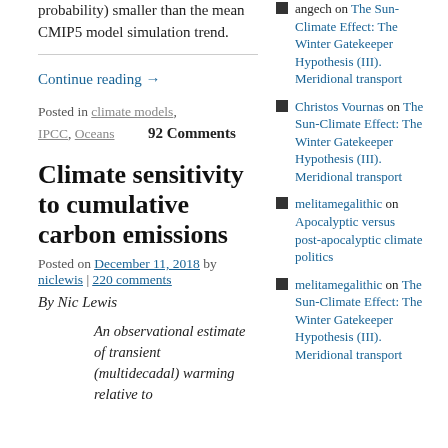probability) smaller than the mean CMIP5 model simulation trend.
Continue reading →
Posted in climate models, IPCC, Oceans    92 Comments
Climate sensitivity to cumulative carbon emissions
Posted on December 11, 2018 by niclewis | 220 comments
By Nic Lewis
An observational estimate of transient (multidecadal) warming relative to
angech on The Sun-Climate Effect: The Winter Gatekeeper Hypothesis (III). Meridional transport
Christos Vournas on The Sun-Climate Effect: The Winter Gatekeeper Hypothesis (III). Meridional transport
melitamegalithic on Apocalyptic versus post-apocalyptic climate politics
melitamegalithic on The Sun-Climate Effect: The Winter Gatekeeper Hypothesis (III). Meridional transport